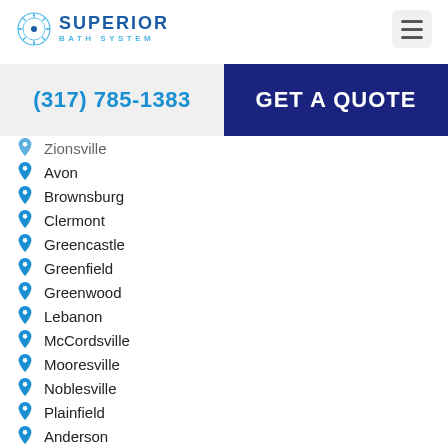SUPERIOR BATH SYSTEM
(317) 785-1383
GET A QUOTE
Zionsville
Avon
Brownsburg
Clermont
Greencastle
Greenfield
Greenwood
Lebanon
McCordsville
Mooresville
Noblesville
Plainfield
Anderson
Beech Grove
Bloomington
Camby